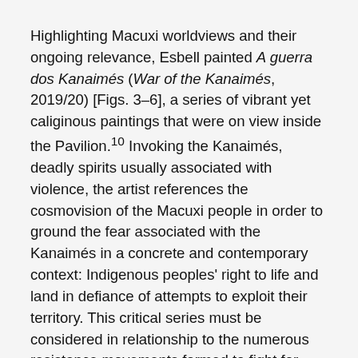Highlighting Macuxi worldviews and their ongoing relevance, Esbell painted A guerra dos Kanaimés (War of the Kanaimés, 2019/20) [Figs. 3–6], a series of vibrant yet caliginous paintings that were on view inside the Pavilion.¹⁰ Invoking the Kanaimés, deadly spirits usually associated with violence, the artist references the cosmovision of the Macuxi people in order to ground the fear associated with the Kanaimés in a concrete and contemporary context: Indigenous peoples' right to life and land in defiance of attempts to exploit their territory. This critical series must be considered in relationship to the numerous resistance movements formed to fight for Indigenous land rights. In 2021, for example, more than 170 distinct peoples from across Brazil went to the nation's capital to oppose proposed legislation that would both displace them and open their land to deforestation. 11 Esbell also brought